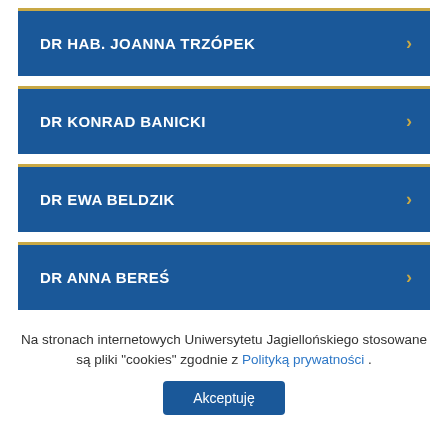DR HAB. JOANNA TRZÓPEK
DR KONRAD BANICKI
DR EWA BELDZIK
DR ANNA BEREŚ
Na stronach internetowych Uniwersytetu Jagiellońskiego stosowane są pliki "cookies" zgodnie z Polityką prywatności .
Akceptuję